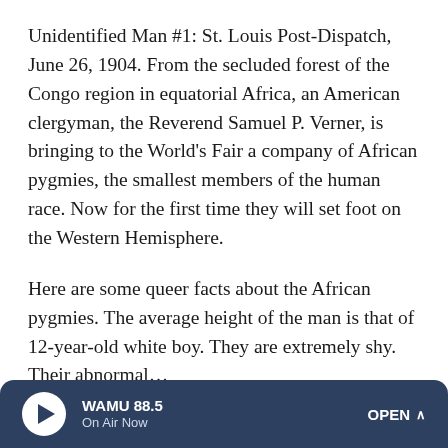Unidentified Man #1: St. Louis Post-Dispatch, June 26, 1904. From the secluded forest of the Congo region in equatorial Africa, an American clergyman, the Reverend Samuel P. Verner, is bringing to the World's Fair a company of African pygmies, the smallest members of the human race. Now for the first time they will set foot on the Western Hemisphere.
Here are some queer facts about the African pygmies. The average height of the man is that of 12-year-old white boy. They are extremely shy. Their abnormal…
Ms. MCCRAY: You know, that was a big thing in the 1904 World's Fair. For the pygmies, they had built their huts,
WAMU 88.5 On Air Now OPEN